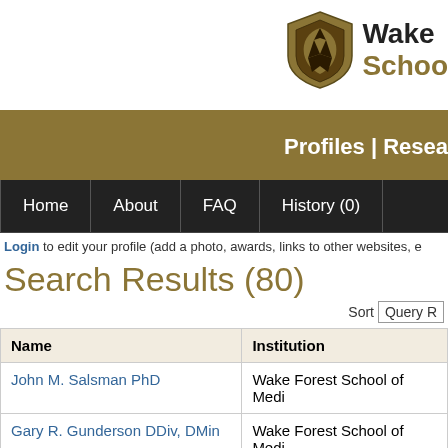[Figure (logo): Wake Forest School of Medicine shield logo with gold and black crest, next to text 'Wake' and 'Schoo' (partially cropped)]
Profiles | Resea
Home | About | FAQ | History (0)
Login to edit your profile (add a photo, awards, links to other websites, e
Search Results (80)
Sort Query R
| Name | Institution |
| --- | --- |
| John M. Salsman PhD | Wake Forest School of Medi |
| Gary R. Gunderson DDiv, DMin | Wake Forest School of Medi |
| Teresa Cutts PhD | Wake Forest School of Med |